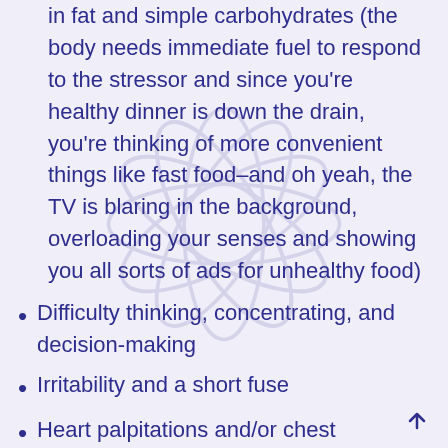in fat and simple carbohydrates (the body needs immediate fuel to respond to the stressor and since you're healthy dinner is down the drain, you're thinking of more convenient things like fast food–and oh yeah, the TV is blaring in the background, overloading your senses and showing you all sorts of ads for unhealthy food)
Difficulty thinking, concentrating, and decision-making
Irritability and a short fuse
Heart palpitations and/or chest